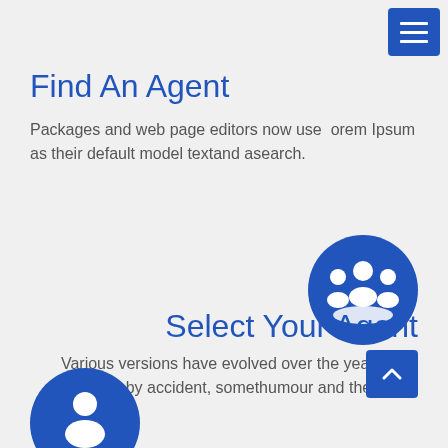[Figure (other): Hamburger menu button (three white horizontal lines on blue square background) in top right corner]
Find An Agent
Packages and web page editors now use  orem Ipsum as their default model textand asearch.
[Figure (illustration): Blue circle with white group/people icon (agent group silhouettes)]
Select Your Agent
Various versions have evolved over the years, sometimes by accident, somethumour and the like.
[Figure (illustration): Scroll-to-top button: blue square with white upward chevron arrow]
[Figure (illustration): Partially visible blue circle with white person/agent icon at bottom left]